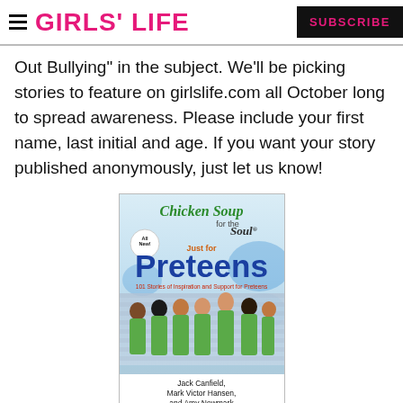GIRLS' LIFE | SUBSCRIBE
Out Bullying in the subject. We'll be picking stories to feature on girlslife.com all October long to spread awareness. Please include your first name, last initial and age. If you want your story published anonymously, just let us know!
[Figure (photo): Book cover of 'Chicken Soup for the Soul: Just for Preteens' by Jack Canfield, Mark Victor Hansen, and Amy Newmark. Shows group of children in green shirts on the cover.]